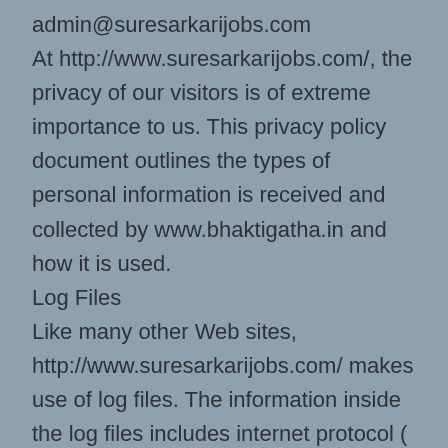admin@suresarkarijobs.com
At http://www.suresarkarijobs.com/, the privacy of our visitors is of extreme importance to us. This privacy policy document outlines the types of personal information is received and collected by www.bhaktigatha.in and how it is used.
Log Files
Like many other Web sites, http://www.suresarkarijobs.com/ makes use of log files. The information inside the log files includes internet protocol ( IP ) addresses, type of browser, Internet Service Provider ( ISP ), date/time stamp,